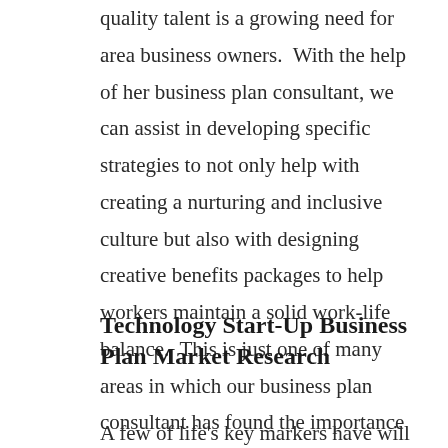quality talent is a growing need for area business owners.  With the help of her business plan consultant, we can assist in developing specific strategies to not only help with creating a nurturing and inclusive culture but also with designing creative benefits packages to help workers maintain a solid work-life balance.  This is just one of many areas in which our business plan consultant has found the importance of a business plan (3/22).
Technology Start-Up Business Plan Market Research
A few of life's key markers have will ot...